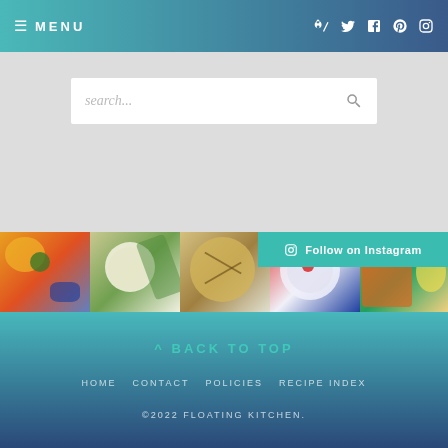≡ MENU | RSS Twitter Facebook Pinterest Instagram
[Figure (screenshot): Search bar with placeholder text 'search...' and magnifying glass icon on a light gray textured background]
[Figure (photo): Strip of food photos from Instagram showing colorful dishes: fruit and blueberry bowl, Greek salad with tzatziki, flatbread slices, tomato and berry salad, salmon with eggs and vegetables. A teal 'Follow on Instagram' button overlaps the top-right.]
^ BACK TO TOP
HOME   CONTACT   POLICIES   RECIPE INDEX
©2022 FLOATING KITCHEN.